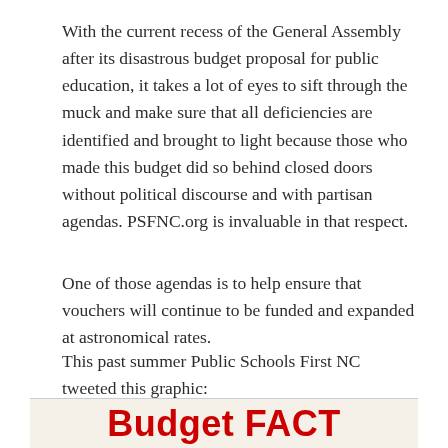With the current recess of the General Assembly after its disastrous budget proposal for public education, it takes a lot of eyes to sift through the muck and make sure that all deficiencies are identified and brought to light because those who made this budget did so behind closed doors without political discourse and with partisan agendas. PSFNC.org is invaluable in that respect.
One of those agendas is to help ensure that vouchers will continue to be funded and expanded at astronomical rates.
This past summer Public Schools First NC tweeted this graphic:
[Figure (other): Graphic with text 'Budget FACT' in bold red letters on a cream/off-white background with horizontal border lines]